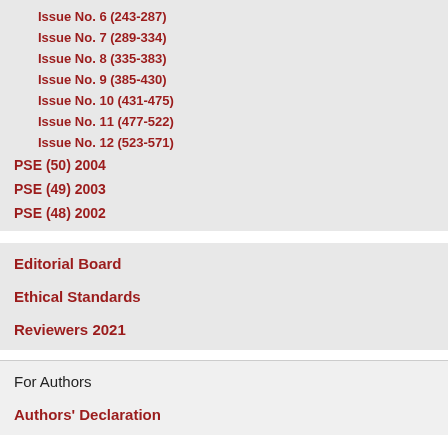Inceptisols; Podzols; Spodoso
Issue No. 6 (243-287)
Issue No. 7 (289-334)
Issue No. 8 (335-383)
Issue No. 9 (385-430)
Issue No. 10 (431-475)
Issue No. 11 (477-522)
Issue No. 12 (523-571)
PSE (50) 2004
PSE (49) 2003
PSE (48) 2002
download PDF
Editorial Board
Ethical Standards
Reviewers 2021
For Authors
Authors' Declaration